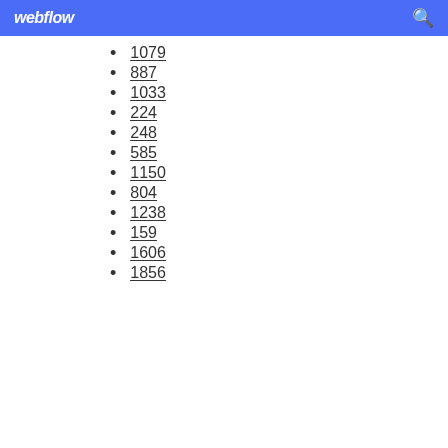webflow
1079
887
1033
224
248
585
1150
804
1238
159
1606
1856